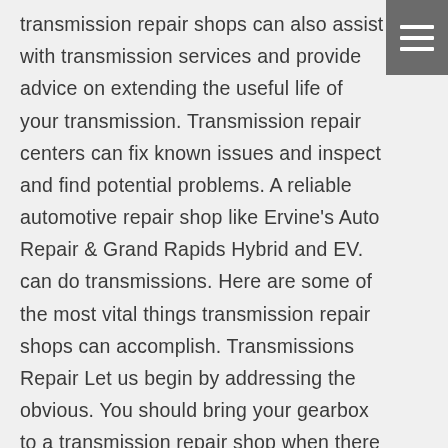transmission repair shops can also assist with transmission services and provide advice on extending the useful life of your transmission. Transmission repair centers can fix known issues and inspect and find potential problems. A reliable automotive repair shop like Ervine's Auto Repair & Grand Rapids Hybrid and EV. can do transmissions. Here are some of the most vital things transmission repair shops can accomplish. Transmissions Repair Let us begin by addressing the obvious. You should bring your gearbox to a transmission repair shop when there is a problem. Automotive repair shops excel at fixing component sections of your car. However, the transmission is different. It is both complicated
[Figure (other): Hamburger menu icon — three horizontal white lines on a dark grey background, positioned in the top-right corner]